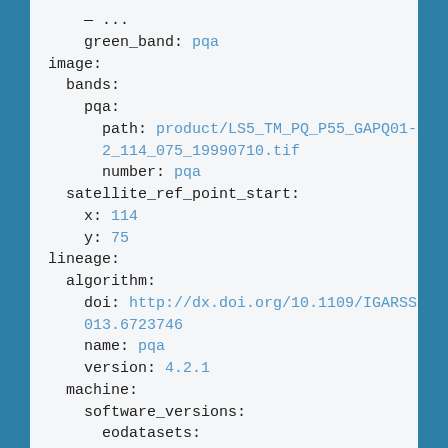green_band: pqa
image:
  bands:
    pqa:
      path: product/LS5_TM_PQ_P55_GAPQ01-002_114_075_19990710.tif
      number: pqa
  satellite_ref_point_start:
    x: 114
    y: 75
lineage:
  algorithm:
    doi: http://dx.doi.org/10.1109/IGARSS.2013.6723746
    name: pqa
    version: 4.2.1
  machine:
    software_versions:
      eodatasets: